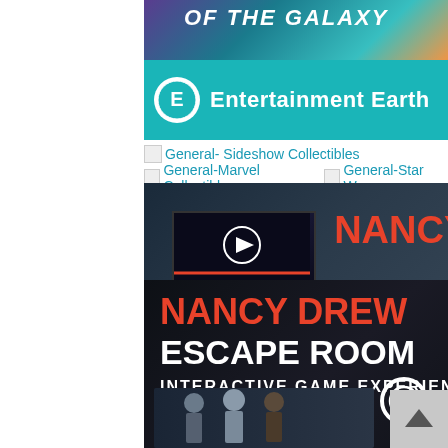[Figure (screenshot): Entertainment Earth banner ad with teal background showing Guardians of the Galaxy promotion and Entertainment Earth logo]
General- Sideshow Collectibles
General-Marvel Collectibles   General-Star Wars
[Figure (screenshot): Nancy Drew and the Hidden Staircase movie promotional banner with Sophia Lillis, showing movie thumbnail and 'Watch the Trailer' text, Own it now on Digital and Blu-ray]
[Figure (screenshot): Nancy Drew Escape Room Interactive Game Experience promotional banner with dark background, red and white text, and character images with magnifying glass icon]